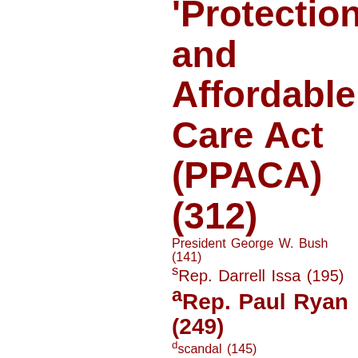[Figure (infographic): Word cloud featuring political terms and names in dark red, sized by frequency count. Terms include: Protection and Affordable Care Act (PPACA) (312), President George W. Bush (141), Rep. Darrell Issa (195), Rep. Paul Ryan (249), scandal (145), Secretary of State Hillary Clinton (340), SEIU (183), Sen. Harry Reid (282), Sen. John McCain (135), Sen. Rand Paul (212), Sen. Ted Cruz (188), Shariah Law (169), Speaker John Boehner (209), Syria (207), Twitter (241), tyranny (148), Vice President Joe Biden (149)]